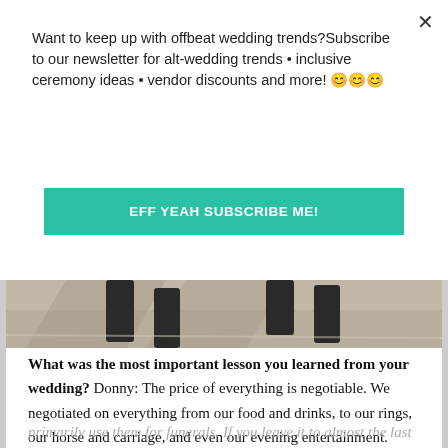Want to keep up with offbeat wedding trends?Subscribe to our newsletter for alt-wedding trends • inclusive ceremony ideas • vendor discounts and more! 😊😊😊
EFF YEAH SUBSCRIBE ME!
[Figure (photo): Partial photo showing legs/hooves of a horse on pavement, cropped]
What was the most important lesson you learned from your wedding? Donny: The price of everything is negotiable. We negotiated on everything from our food and drinks, to our rings, our horse and carriage, and even our evening entertainment. Another good lesson is that horses and carriages can be hired from companies that
primarily use them for funerals. If you leave it to almost the last minute, like I did, you can get a steep discount as